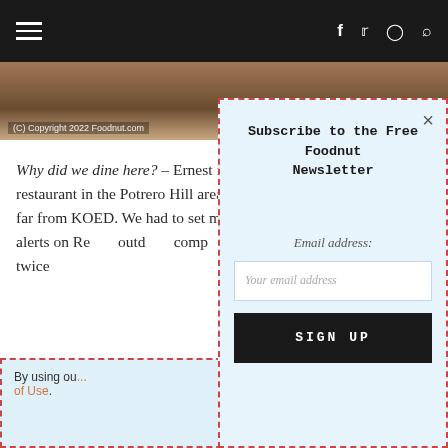≡  f  Twitter  Instagram  Search
[Figure (photo): Food photo strip with copyright text: (C) Copyright 2022 Foodnut.com]
Why did we dine here? – Ernest is a hot restaurant in the Potrero Hill area not far from KOED. We had to set multiple alerts on Re... outd... comp... twice...
By using ou... of Use.
Subscribe to the Free Foodnut Newsletter
Email address:
Your email address
SIGN UP